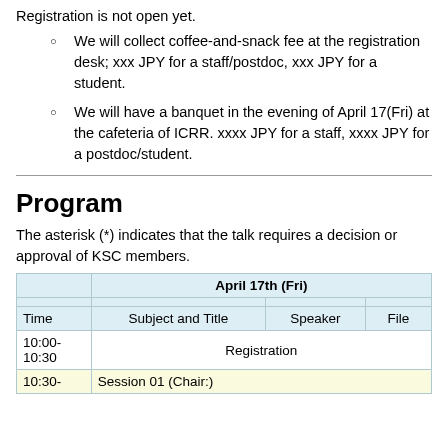Registration is not open yet.
We will collect coffee-and-snack fee at the registration desk; xxx JPY for a staff/postdoc, xxx JPY for a student.
We will have a banquet in the evening of April 17(Fri) at the cafeteria of ICRR. xxxx JPY for a staff, xxxx JPY for a postdoc/student.
Program
The asterisk (*) indicates that the talk requires a decision or approval of KSC members.
|  | April 17th (Fri) |  |  |
| --- | --- | --- | --- |
| Time | Subject and Title | Speaker | File |
| 10:00-10:30 | Registration |  |  |
| 10:30- | Session 01 (Chair:) |  |  |